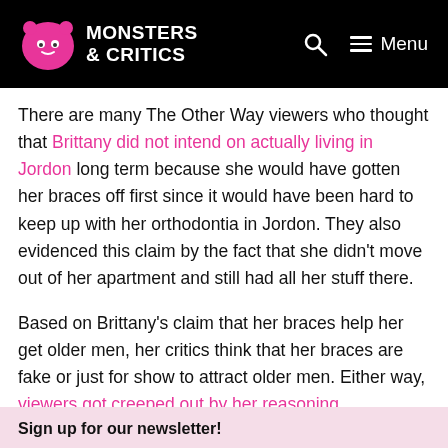Monsters & Critics — Menu
There are many The Other Way viewers who thought that Brittany did not intend on actually living in Jordon long term because she would have gotten her braces off first since it would have been hard to keep up with her orthodontia in Jordon. They also evidenced this claim by the fact that she didn't move out of her apartment and still had all her stuff there.
Based on Brittany's claim that her braces help her get older men, her critics think that her braces are fake or just for show to attract older men. Either way, viewers got creeped out by her reasoning.
Sign up for our newsletter!